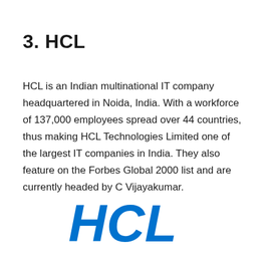3. HCL
HCL is an Indian multinational IT company headquartered in Noida, India. With a workforce of 137,000 employees spread over 44 countries, thus making HCL Technologies Limited one of the largest IT companies in India. They also feature on the Forbes Global 2000 list and are currently headed by C Vijayakumar.
[Figure (logo): HCL logo in bold blue italic serif lettering]